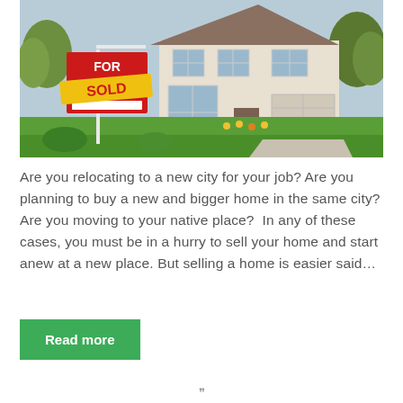[Figure (photo): Photo of a house with a FOR SALE / SOLD sign in the front yard. The house is a large beige two-story home with green lawn. A red realtor sign reads FOR SALE with a yellow SOLD banner over it.]
Are you relocating to a new city for your job? Are you planning to buy a new and bigger home in the same city? Are you moving to your native place?  In any of these cases, you must be in a hurry to sell your home and start anew at a new place. But selling a home is easier said…
Read more